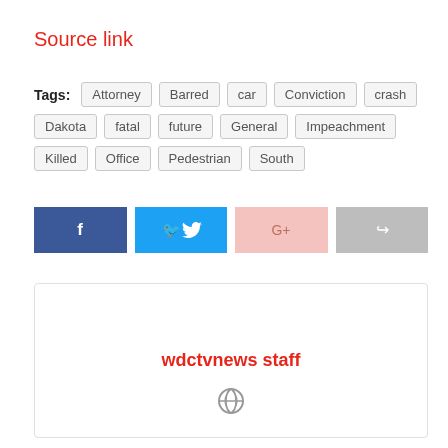Source link
Tags: Attorney  Barred  car  Conviction  crash  Dakota  fatal  future  General  Impeachment  Killed  Office  Pedestrian  South
[Figure (other): Social share buttons: Facebook (dark blue), Twitter (light blue), Google+ (pink), Share (gray)]
wdctvnews staff
[Figure (other): Globe/website icon]